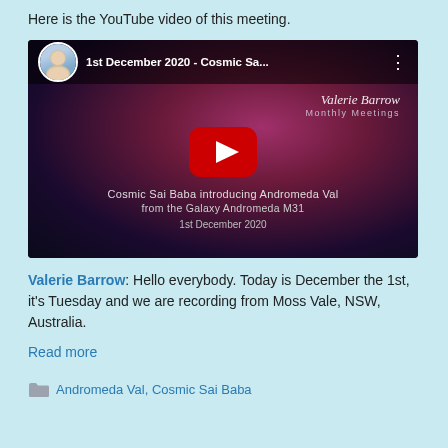Here is the YouTube video of this meeting.
[Figure (screenshot): YouTube video thumbnail for '1st December 2020 - Cosmic Sa...' by Valerie Barrow Monthly Meetings. Shows a cosmic/galaxy background with two ethereal figures and a woman. Text overlay: 'Cosmic Sai Baba introducing Andromeda Val from the Galaxy Andromeda M31 / 1st December 2020'. Red YouTube play button in center.]
Valerie Barrow: Hello everybody. Today is December the 1st, it's Tuesday and we are recording from Moss Vale, NSW, Australia.
Read more
Andromeda Val, Cosmic Sai Baba